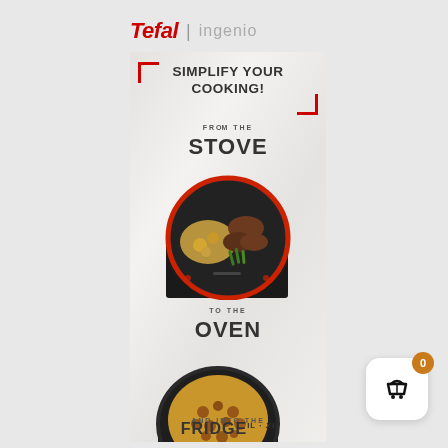[Figure (logo): Tefal Ingenio logo — Tefal in red italic bold, vertical divider, 'ingenio' in light grey]
[Figure (infographic): Tefal Ingenio vertical ad banner on marble background. Shows 'SIMPLIFY YOUR COOKING!' headline with red corner brackets. Section 1: FROM THE STOVE with a dark frying pan containing meat, potatoes, and green beans on a stove top. Section 2: TO THE OVEN with a dark pan containing a casserole/grain dish being placed in oven with red silicone handle. Bottom text partially visible: AND INTO THE FRIDGE.]
[Figure (illustration): Shopping cart icon in white rounded-square button with orange badge showing '0']